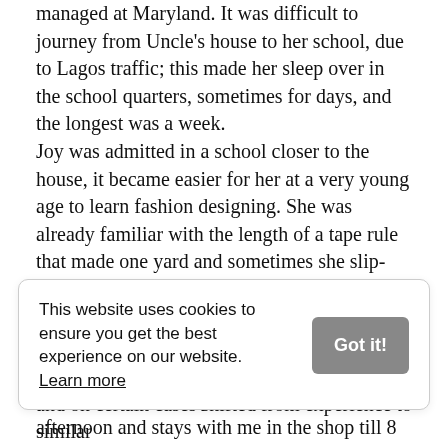managed at Maryland. It was difficult to journey from Uncle's house to her school, due to Lagos traffic; this made her sleep over in the school quarters, sometimes for days, and the longest was a week. Joy was admitted in a school closer to the house, it became easier for her at a very young age to learn fashion designing. She was already familiar with the length of a tape rule that made one yard and sometimes she slip-stitched the blouse neckline by hand, which may be difficult for kids at the age of four. Joy was very sharp for her age and it made my customers always seek her company. She closes from school by 4 o'clock in the afternoon and stays with me in the shop till 8 o'clock at night.
This website uses cookies to ensure you get the best experience on our website. Learn more
and on certain cases shifted from experience to similar